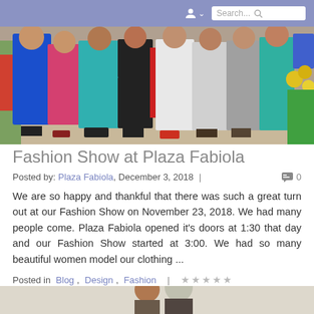Search...
[Figure (photo): Group of women models wearing colorful clothing at Fashion Show at Plaza Fabiola, standing together in a row]
Fashion Show at Plaza Fabiola
Posted by: Plaza Fabiola, December 3, 2018 | 0
We are so happy and thankful that there was such a great turn out at our Fashion Show on November 23, 2018. We had many people come. Plaza Fabiola opened it's doors at 1:30 that day and our Fashion Show started at 3:00. We had so many beautiful women model our clothing ...
Posted in Blog, Design, Fashion | ★★★★★
[Figure (photo): Partial view of a second blog post photo showing people, cropped at bottom of page]